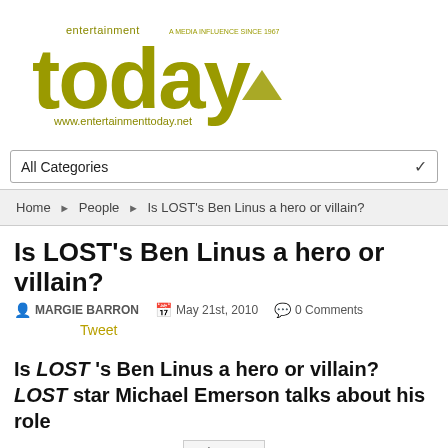[Figure (logo): Entertainment Today logo with text 'entertainment today' and 'www.entertainmenttoday.net', golden/olive color]
All Categories
Home ▶ People ▶ Is LOST's Ben Linus a hero or villain?
Is LOST's Ben Linus a hero or villain?
MARGIE BARRON   May 21st, 2010   0 Comments
Tweet
Is LOST 's Ben Linus a hero or villain? LOST star Michael Emerson talks about his role
[Figure (photo): Image placeholder]
With all the buzz that is swirling around the finale of ABC's Lost, the man who remains one of the most surprising characters on the show is Benjamin Linus,